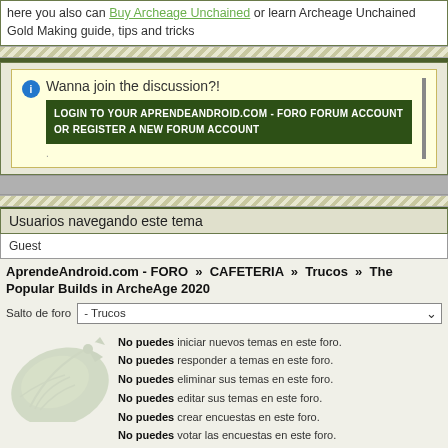here you also can Buy Archeage Unchained or learn Archeage Unchained Gold Making guide, tips and tricks
Wanna join the discussion?!
LOGIN TO YOUR APRENDEANDROID.COM - FORO FORUM ACCOUNT
OR REGISTER A NEW FORUM ACCOUNT
Usuarios navegando este tema
Guest
AprendeAndroid.com - FORO » CAFETERIA » Trucos » The Popular Builds in ArcheAge 2020
Salto de foro   - Trucos
No puedes iniciar nuevos temas en este foro.
No puedes responder a temas en este foro.
No puedes eliminar sus temas en este foro.
No puedes editar sus temas en este foro.
No puedes crear encuestas en este foro.
No puedes votar las encuestas en este foro.
FlatEarth Theme by Jaben Cargman (Tiny Gecko)
Generado por YAF.NET | YAF.NET © 2003-2022, Yet Another Forum.NET